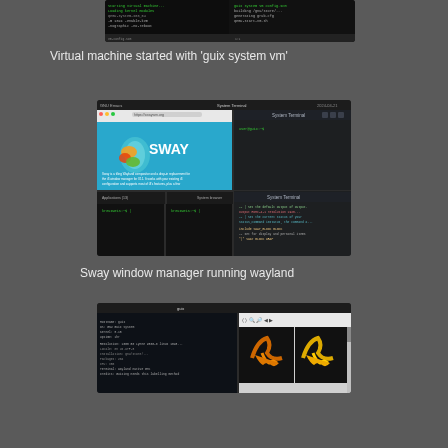[Figure (screenshot): Terminal/virtual machine screenshot showing command-line output with dark background, two pane split terminal view]
Virtual machine started with 'guix system vm'
[Figure (screenshot): Sway window manager screenshot showing web browser with Sway logo (tiled window manager), multiple terminal windows arranged in tiling layout, and a terminal at the bottom with text output]
Sway window manager running wayland
[Figure (screenshot): Screenshot showing a terminal on the left with system information output, and an application window on the right displaying the Guix bull logo in orange/yellow on dark background]